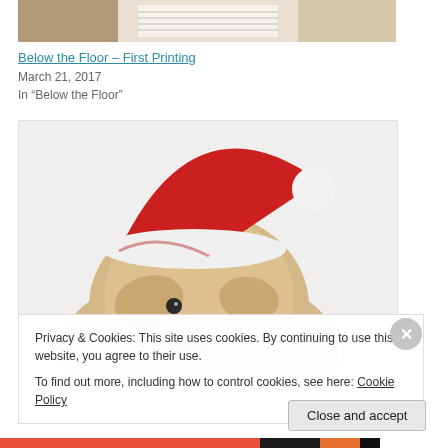[Figure (photo): Partial view of a book being read, cropped at top]
Below the Floor – First Printing
March 21, 2017
In "Below the Floor"
[Figure (photo): A fluffy tan/beige lop-eared rabbit wearing a red and white Santa Claus hat, on a white background]
Privacy & Cookies: This site uses cookies. By continuing to use this website, you agree to their use.
To find out more, including how to control cookies, see here: Cookie Policy
Close and accept